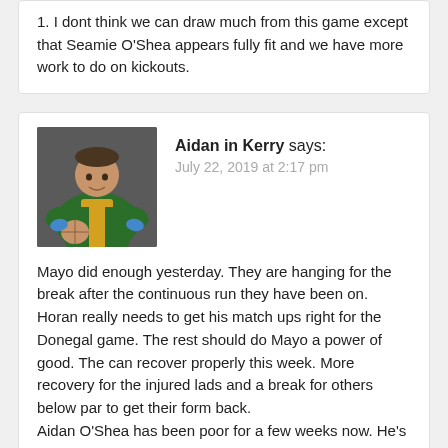1. I dont think we can draw much from this game except that Seamie O'Shea appears fully fit and we have more work to do on kickouts.
[Figure (photo): Avatar photo of a GAA footballer in green and gold Kerry jersey holding a ball]
Aidan in Kerry says: July 22, 2019 at 2:17 pm
Mayo did enough yesterday. They are hanging for the break after the continuous run they have been on. Horan really needs to get his match ups right for the Donegal game. The rest should do Mayo a power of good. The can recover properly this week. More recovery for the injured lads and a break for others below par to get their form back.
Aidan O'Shea has been poor for a few weeks now. He's definitely injured. Kerry really targeted Donegal with high ball yesterday. Maybe AOS could flit between full forward and midfield if he has an injury to be minded?